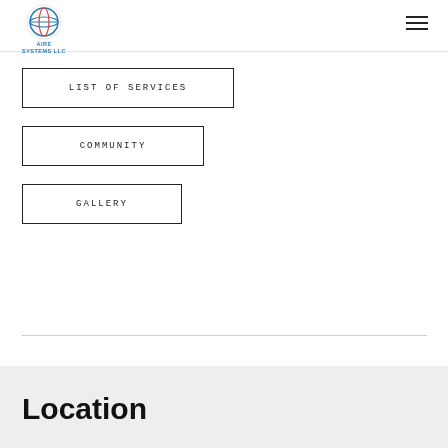AIRE SYSTEMS LLC
LIST OF SERVICES
COMMUNITY
GALLERY
Location